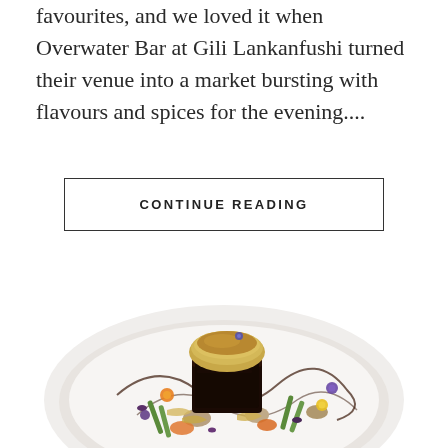favourites, and we loved it when Overwater Bar at Gili Lankanfushi turned their venue into a market bursting with flavours and spices for the evening....
CONTINUE READING
[Figure (photo): An elegantly plated gourmet dish on a white plate featuring a seared protein topped with a golden-browned piece, surrounded by asparagus, orange and purple edible flowers, golden shavings, mushrooms, and a dark sauce swirl.]